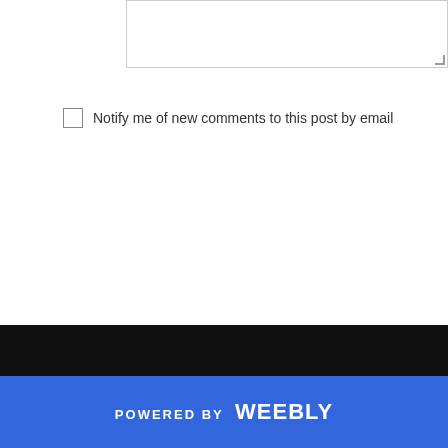[Figure (screenshot): A textarea input box with a resize handle in the bottom-right corner]
Notify me of new comments to this post by email
[Figure (screenshot): A SUBMIT button with bold uppercase text and a rectangular border]
[Figure (screenshot): A circular dark gray scroll-to-top button with an upward arrow]
[Figure (screenshot): A black bar separator]
POWERED BY weebly